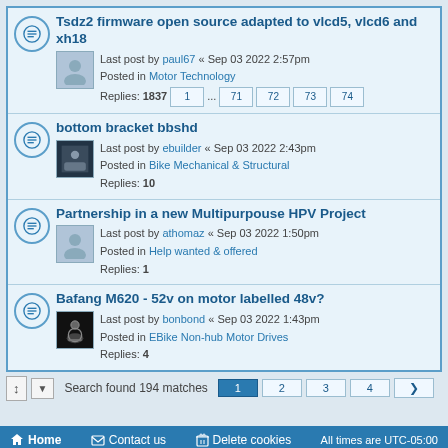Tsdz2 firmware open source adapted to vlcd5, vlcd6 and xh18 — Last post by paul67 « Sep 03 2022 2:57pm — Posted in Motor Technology — Replies: 1837 — Pages: 1 ... 71 72 73 74
bottom bracket bbshd — Last post by ebuilder « Sep 03 2022 2:43pm — Posted in Bike Mechanical & Structural — Replies: 10
Partnership in a new Multipurpouse HPV Project — Last post by athomaz « Sep 03 2022 1:50pm — Posted in Help wanted & offered — Replies: 1
Bafang M620 - 52v on motor labelled 48v? — Last post by bonbond « Sep 03 2022 1:43pm — Posted in EBike Non-hub Motor Drives — Replies: 4
Search found 194 matches — Pages: 1 2 3 4 >
Home   Contact us   Delete cookies   All times are UTC-05:00